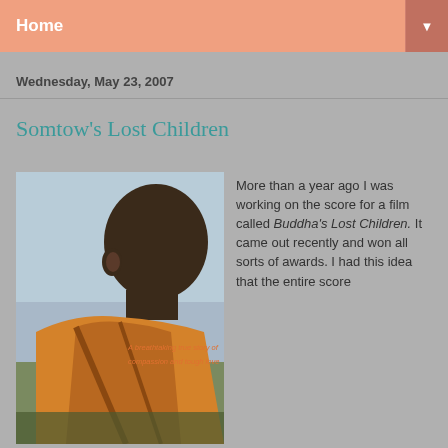Home
Wednesday, May 23, 2007
Somtow's Lost Children
[Figure (photo): Book/film cover image showing the back of a young monk's shaved head and orange robe, with overlay text reading 'A breathtaking true story of compassion and tough love']
More than a year ago I was working on the score for a film called Buddha's Lost Children. It came out recently and won all sorts of awards. I had this idea that the entire score